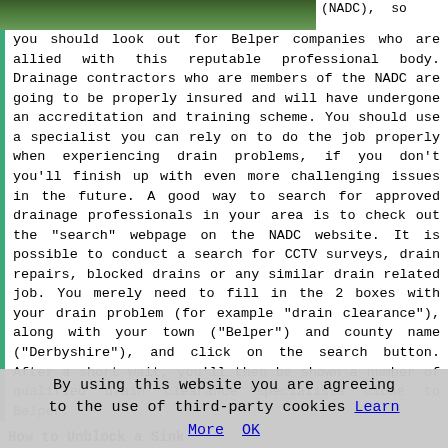[Figure (photo): Photo of a drain/ground area, top left portion visible]
(NADC), so you should look out for Belper companies who are allied with this reputable professional body. Drainage contractors who are members of the NADC are going to be properly insured and will have undergone an accreditation and training scheme. You should use a specialist you can rely on to do the job properly when experiencing drain problems, if you don't you'll finish up with even more challenging issues in the future. A good way to search for approved drainage professionals in your area is to check out the "search" webpage on the NADC website. It is possible to conduct a search for CCTV surveys, drain repairs, blocked drains or any similar drain related job. You merely need to fill in the 2 boxes with your drain problem (for example "drain clearance"), along with your town ("Belper") and county name ("Derbyshire"), and click on the search button. After a short wait, you'll then be shown a number of qualified drain clearance specialists close to Belper.
How to Unblock a Sink
With blocked sinks, you
[Figure (photo): Photo of a blocked sink with yellow gloves and plumbing tools]
By using this website you are agreeing to the use of third-party cookies Learn More OK